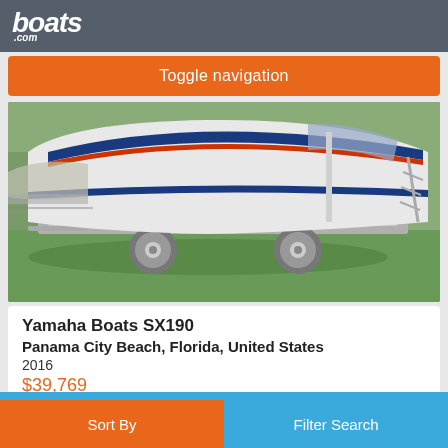boats.com
Toggle navigation
[Figure (photo): Side view of a Yamaha Boats SX190 on a trailer, parked on grass. The boat has a white hull with blue and red/orange graphic stripes. A metal trailer with a single axle supports the boat.]
Yamaha Boats SX190
Panama City Beach, Florida, United States
2016
$39,769
Seller Legendary Marine Used Boat Super Center
Sort By
Filter Search